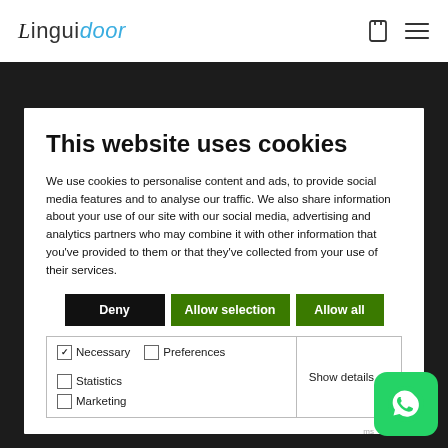Linguidoor
This website uses cookies
We use cookies to personalise content and ads, to provide social media features and to analyse our traffic. We also share information about your use of our site with our social media, advertising and analytics partners who may combine it with other information that you've provided to them or that they've collected from your use of their services.
Deny | Allow selection | Allow all
Necessary | Preferences | Statistics | Marketing | Show details
surprise they agreed to help me out on my schedule. The certified translation that came back was